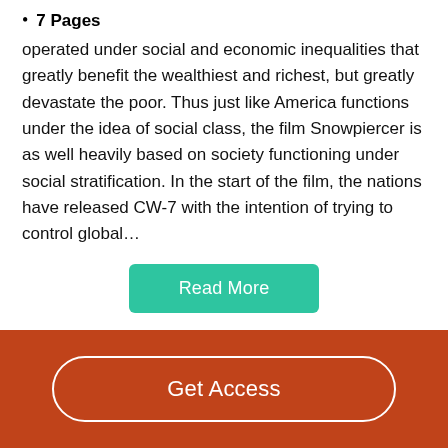7 Pages
operated under social and economic inequalities that greatly benefit the wealthiest and richest, but greatly devastate the poor. Thus just like America functions under the idea of social class, the film Snowpiercer is as well heavily based on society functioning under social stratification. In the start of the film, the nations have released CW-7 with the intention of trying to control global…
Read More
Better Essays
Snowpiercer Film Analysis
Get Access